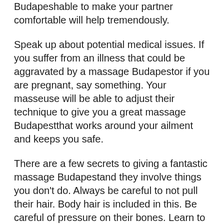Budapeshable to make your partner comfortable will help tremendously.
Speak up about potential medical issues. If you suffer from an illness that could be aggravated by a massage Budapestor if you are pregnant, say something. Your masseuse will be able to adjust their technique to give you a great massage Budapestthat works around your ailment and keeps you safe.
There are a few secrets to giving a fantastic massage Budapestand they involve things you don't do. Always be careful to not pull their hair. Body hair is included in this. Be careful of pressure on their bones. Learn to be gentle when you need to be and hard when required.
To perform a pregnancy massage, have the expectant mother lie on her side and gently rub her back using a circular motion. A pregnancy massage Budapestis especially beneficial during the third trimester when the